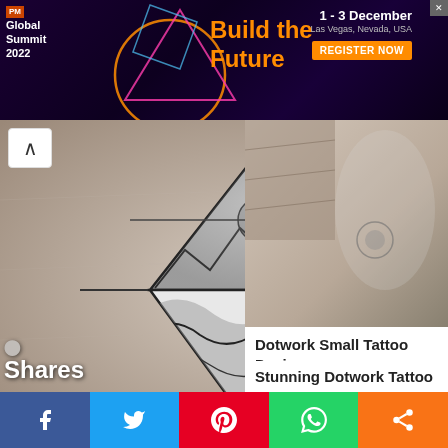[Figure (screenshot): Advertisement banner for PM Global Summit 2022, dark purple background with neon geometric decorations, orange 'Build the Future' text, date '1-3 December, Las Vegas, Nevada, USA' and orange 'REGISTER NOW' button]
[Figure (photo): Large black and white dotwork tattoo on a leg showing a diamond/kite shape containing mountains, ocean waves, and a sun with geometric line accents]
[Figure (photo): Black and white photo showing a small dotwork tattoo on skin, torso area]
Dotwork Small Tattoo Design
See More
[Figure (photo): Dark moody photo of an arrow tattoo on a forearm, showing bundled arrows design in dotwork style]
Stunning Dotwork Tattoo